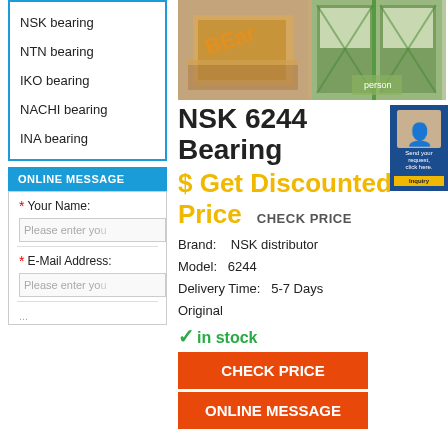NSK bearing
NTN bearing
IKO bearing
NACHI bearing
INA bearing
ONLINE MESSAGE
* Your Name:
Please enter you
* E-Mail Address:
Please enter you
[Figure (photo): Two photos of boxed bearing products in warehouse/shipping context]
NSK 6244 Bearing
$ Get Discounted Price  CHECK PRICE
Brand:    NSK distributor
Model:    6244
Delivery Time:    5-7 Days
Original
✓in stock
CHECK PRICE
ONLINE MESSAGE